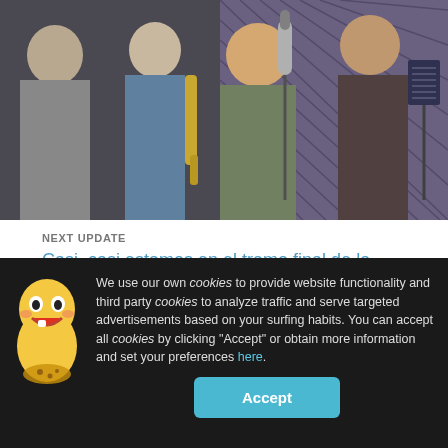[Figure (photo): Several musicians in a recording studio. A man in a green jacket is at a microphone, another holds a saxophone. There is a music stand with sheet music on the right.]
NEXT UPDATE
Casi, casi estamos en el tramo final de la producción de nuestro CD
We use our own cookies to provide website functionality and third party cookies to analyze traffic and serve targeted advertisements based on your surfing habits. You can accept all cookies by clicking "Accept" or obtain more information and set your preferences here.